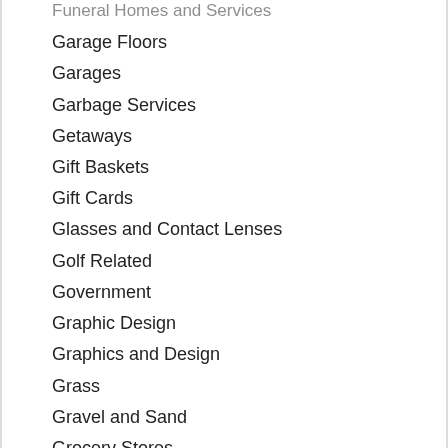Funeral Homes and Services
Garage Floors
Garages
Garbage Services
Getaways
Gift Baskets
Gift Cards
Glasses and Contact Lenses
Golf Related
Government
Graphic Design
Graphics and Design
Grass
Gravel and Sand
Grocery Stores
Gutter Cleaning